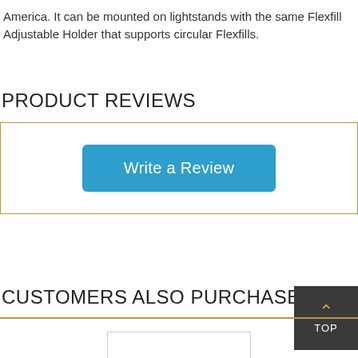America. It can be mounted on lightstands with the same Flexfill Adjustable Holder that supports circular Flexfills.
PRODUCT REVIEWS
[Figure (other): Box with gold border containing a blue 'Write a Review' button]
CUSTOMERS ALSO PURCHASED
[Figure (other): Dark grey 'TOP' button with upward orange chevron arrow in bottom right corner]
[Figure (other): Small white box with grey border at bottom of page]